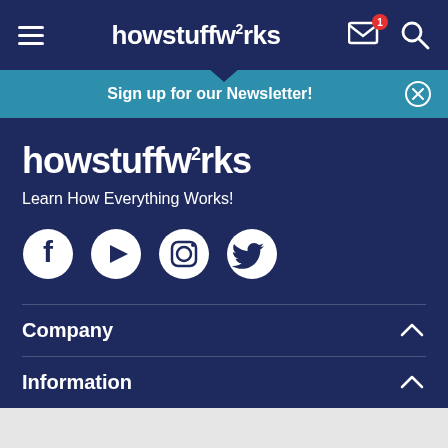howstuffworks navigation bar with hamburger menu, envelope with notification badge (1), and search icon
Sign up for our Newsletter!
[Figure (logo): howstuffworks logo in white text on dark navy background]
Learn How Everything Works!
[Figure (illustration): Social media icons: Facebook, YouTube, Instagram, Twitter]
Company
Information